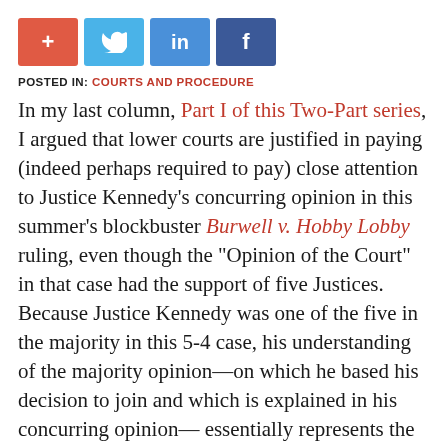[Figure (other): Social sharing buttons: red plus button, blue Twitter bird button, blue LinkedIn 'in' button, dark blue Facebook 'f' button]
POSTED IN: COURTS AND PROCEDURE
In my last column, Part I of this Two-Part series, I argued that lower courts are justified in paying (indeed perhaps required to pay) close attention to Justice Kennedy’s concurring opinion in this summer’s blockbuster Burwell v. Hobby Lobby ruling, even though the “Opinion of the Court” in that case had the support of five Justices. Because Justice Kennedy was one of the five in the majority in this 5-4 case, his understanding of the majority opinion—on which he based his decision to join and which is explained in his concurring opinion—essentially represents the narrowest common